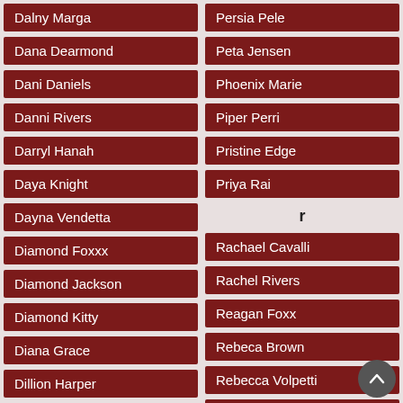Dalny Marga
Persia Pele
Dana Dearmond
Peta Jensen
Dani Daniels
Phoenix Marie
Danni Rivers
Piper Perri
Darryl Hanah
Pristine Edge
Daya Knight
Priya Rai
Dayna Vendetta
r
Diamond Foxxx
Rachael Cavalli
Diamond Jackson
Rachel Rivers
Diamond Kitty
Reagan Foxx
Diana Grace
Rebeca Brown
Dillion Harper
Rebecca Volpetti
Dolly Leigh
Rebel Lynn
Dolly Little
Red Xxx